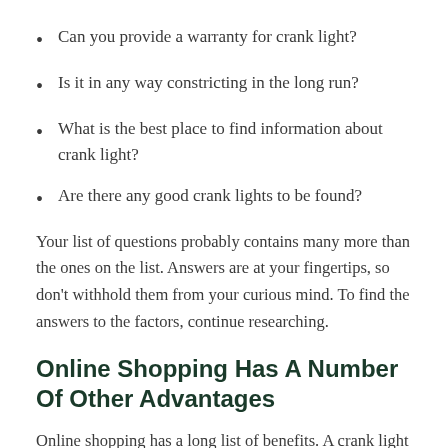Can you provide a warranty for crank light?
Is it in any way constricting in the long run?
What is the best place to find information about crank light?
Are there any good crank lights to be found?
Your list of questions probably contains many more than the ones on the list. Answers are at your fingertips, so don't withhold them from your curious mind. To find the answers to the factors, continue researching.
Online Shopping Has A Number Of Other Advantages
Online shopping has a long list of benefits. A crank light